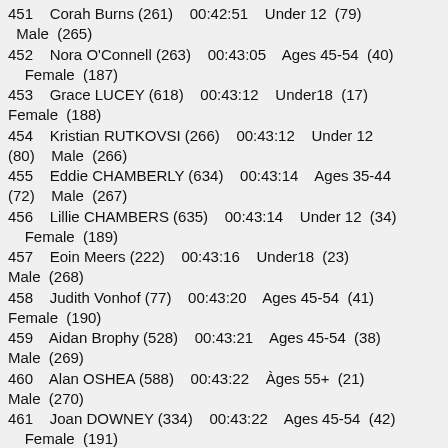451    Corah Burns (261)    00:42:51    Under 12  (79)  Male  (265)
452    Nora O'Connell (263)    00:43:05    Ages 45-54  (40)  Female  (187)
453    Grace LUCEY (618)    00:43:12    Under18  (17)  Female  (188)
454    Kristian RUTKOVSI (266)    00:43:12    Under 12  (80)  Male  (266)
455    Eddie CHAMBERLY (634)    00:43:14    Ages 35-44  (72)  Male  (267)
456    Lillie CHAMBERS (635)    00:43:14    Under 12  (34)  Female  (189)
457    Eoin Meers (222)    00:43:16    Under18  (23)  Male  (268)
458    Judith Vonhof (77)    00:43:20    Ages 45-54  (41)  Female  (190)
459    Aidan Brophy (528)    00:43:21    Ages 45-54  (38)  Male  (269)
460    Alan OSHEA (588)    00:43:22    Àges 55+  (21)  Male  (270)
461    Joan DOWNEY (334)    00:43:22    Ages 45-54  (42)  Female  (191)
462    Carmel Brophy (529)    00:43:22    Ages 45-54  (43)